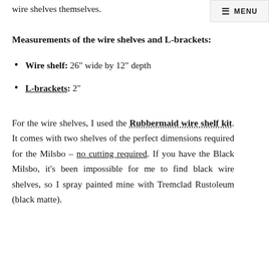pieces: L-brackets (to hold the shelves up) and the wire shelves themselves.
MENU
Measurements of the wire shelves and L-brackets:
Wire shelf: 26" wide by 12" depth
L-brackets: 2"
For the wire shelves, I used the Rubbermaid wire shelf kit. It comes with two shelves of the perfect dimensions required for the Milsbo – no cutting required. If you have the Black Milsbo, it's been impossible for me to find black wire shelves, so I spray painted mine with Tremclad Rustoleum (black matte).